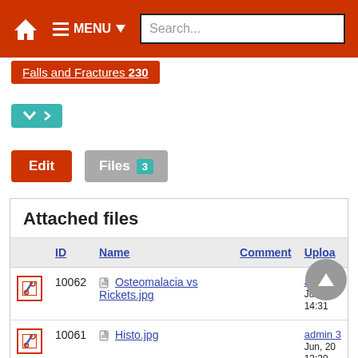[Figure (screenshot): Top navigation bar with home icon, hamburger menu labeled MENU with dropdown arrow, and a search input field showing placeholder text 'Search...']
Falls and Fractures 230
[Figure (screenshot): Teal dropdown button with chevron down and dropdown arrow icons]
Edit
Files 3
Attached files
|  | ID | Name | Comment | Uploa |
| --- | --- | --- | --- | --- |
| [wrench] | 10062 | Osteomalacia vs Rickets.jpg |  | admin 3 Jun, 20 14:31 |
| [wrench] | 10061 | Histo.jpg |  | admin 3 Jun, 20 13:30 |